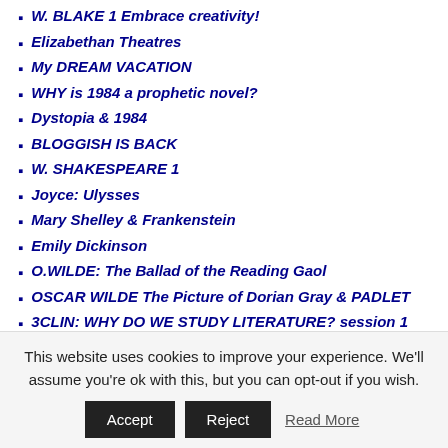W. BLAKE 1 Embrace creativity!
Elizabethan Theatres
My DREAM VACATION
WHY is 1984 a prophetic novel?
Dystopia & 1984
BLOGGISH IS BACK
W. SHAKESPEARE 1
Joyce: Ulysses
Mary Shelley & Frankenstein
Emily Dickinson
O.WILDE: The Ballad of the Reading Gaol
OSCAR WILDE The Picture of Dorian Gray & PADLET
3CLIN: WHY DO WE STUDY LITERATURE? session 1
Video PRESENTATIONS BY STUDENTS
Buon inizio anno scolastico!
3CLIN CREATIVE WRITING
This website uses cookies to improve your experience. We'll assume you're ok with this, but you can opt-out if you wish.